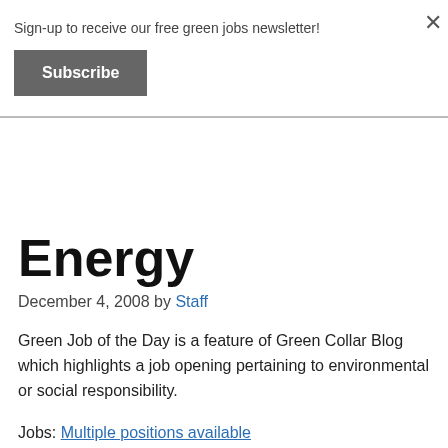Sign-up to receive our free green jobs newsletter!
Subscribe
×
Energy
December 4, 2008 by Staff
Green Job of the Day is a feature of Green Collar Blog which highlights a job opening pertaining to environmental or social responsibility.
Jobs: Multiple positions available
Organization: Oregon Department of Energy
The Oregon Department of Energy currently